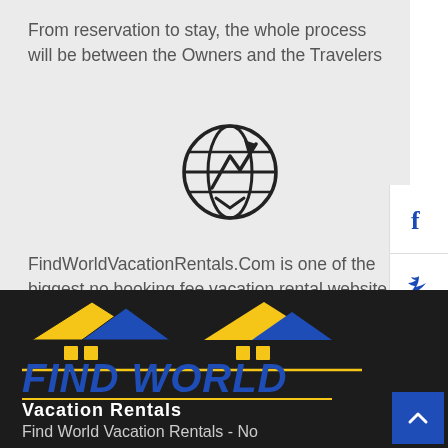From reservation to stay, the whole process will be between the Owners and the Travelers
[Figure (illustration): Globe icon with upward arrow, indicating worldwide reach]
FindWorldVacationRentals.Com is one of the biggest no booking fee vacation rental website
[Figure (logo): Find World Vacation Rentals logo with house silhouettes and yellow/blue color scheme]
Find World Vacation Rentals - No